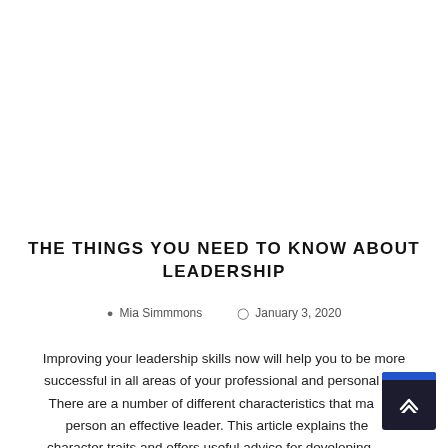THE THINGS YOU NEED TO KNOW ABOUT LEADERSHIP
Mia Simmmons   January 3, 2020
Improving your leadership skills now will help you to be more successful in all areas of your professional and personal life. There are a number of different characteristics that make a person an effective leader. This article explains these character traits and offers useful advice for developing your